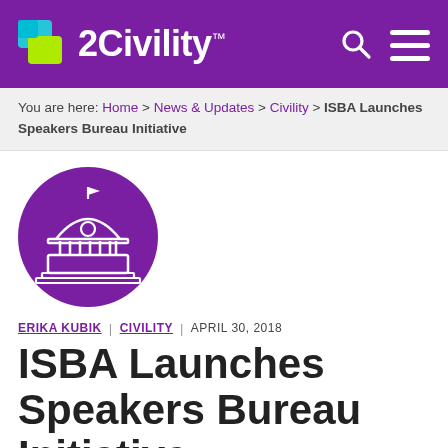2Civility™
You are here: Home > News & Updates > Civility > ISBA Launches Speakers Bureau Initiative
[Figure (illustration): Purple circle with white capitol building / government dome icon]
ERIKA KUBIK  |  CIVILITY  |  APRIL 30, 2018
ISBA Launches Speakers Bureau Initiative